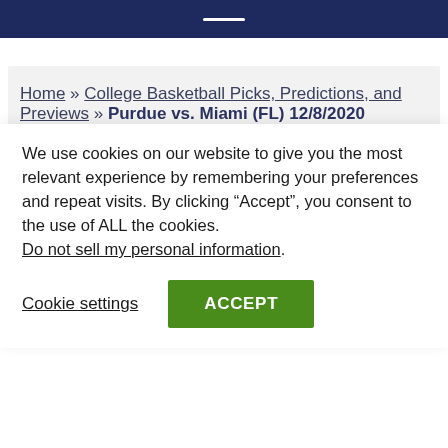Home » College Basketball Picks, Predictions, and Previews » Purdue vs. Miami (FL) 12/8/2020 College Basketball Picks, Prediction, and Preview
We use cookies on our website to give you the most relevant experience by remembering your preferences and repeat visits. By clicking “Accept”, you consent to the use of ALL the cookies. Do not sell my personal information.
Cookie settings  ACCEPT